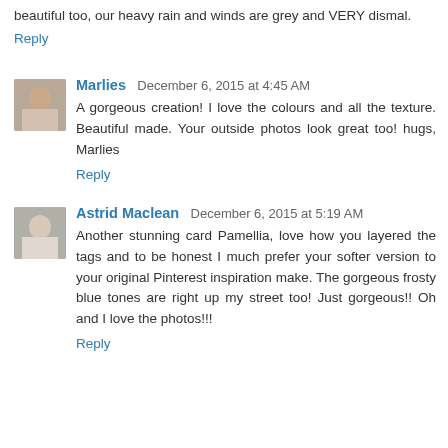beautiful too, our heavy rain and winds are grey and VERY dismal.
Reply
Marlies  December 6, 2015 at 4:45 AM
A gorgeous creation! I love the colours and all the texture. Beautiful made. Your outside photos look great too! hugs, Marlies
Reply
Astrid Maclean  December 6, 2015 at 5:19 AM
Another stunning card Pamellia, love how you layered the tags and to be honest I much prefer your softer version to your original Pinterest inspiration make. The gorgeous frosty blue tones are right up my street too! Just gorgeous!! Oh and I love the photos!!!
Reply